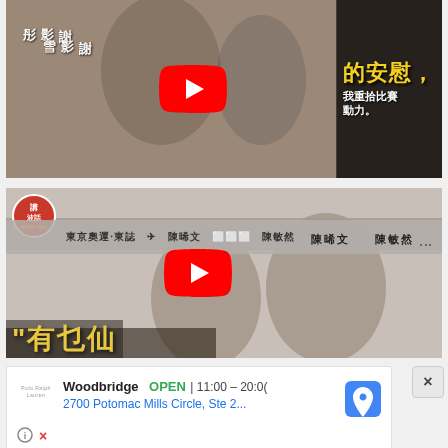[Figure (screenshot): YouTube video thumbnail showing two women (謝影彤 and 謝影雪) smiling together. Text on right side in Chinese: 的安慰，我重拾比賽動力。 Names 謝影彤 and 謝影雪 shown. YouTube play button overlay in center.]
[Figure (screenshot): YouTube video thumbnail showing 陳晞文 and 陳敏然. Podcast/show logo in top left. Bar with Chinese text 東京奧運‧東誌. Three dots menu icon on right. Large yellow Chinese text at bottom. YouTube play button overlay in center.]
[Figure (screenshot): Google Maps advertisement banner for Woodbridge store. Shows OPEN 11:00-20:00, address 2700 Potomac Mills Circle, Ste 2... Navigation arrow icon on right. Info and close icons at bottom left.]